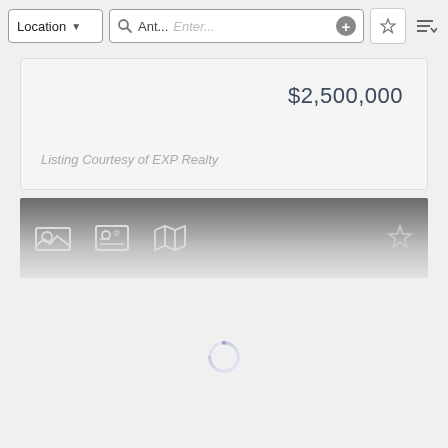Location | Ant... | Enter... | [star] | [sort]
$2,500,000
Listing Courtesy of EXP Realty
[Figure (screenshot): Real estate app UI detail panel with icons for photos, contact, map and a star/favorite button, with a gradient dark background]
[Figure (screenshot): Loading spinner (circular progress indicator) centered on a white background]